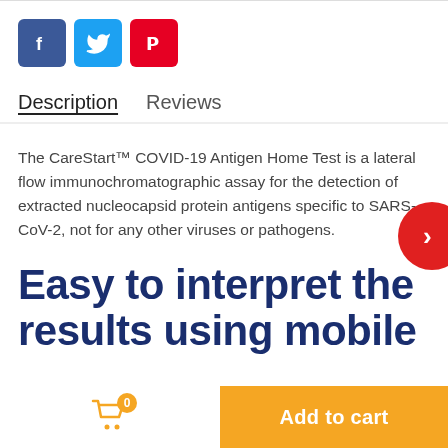[Figure (other): Social share buttons: Facebook (blue), Twitter (light blue), Pinterest (red)]
Description   Reviews
The CareStart™ COVID-19 Antigen Home Test is a lateral flow immunochromatographic assay for the detection of extracted nucleocapsid protein antigens specific to SARS-CoV-2, not for any other viruses or pathogens.
Easy to interpret the results using mobile
Add to cart